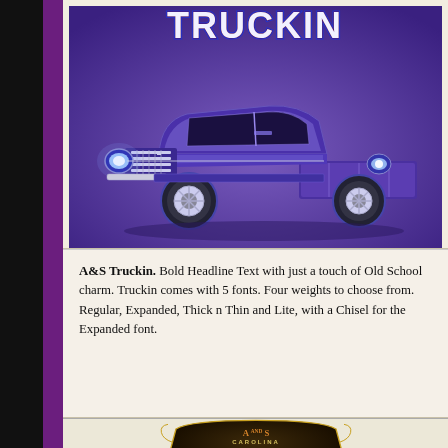[Figure (illustration): Illustration of a classic purple hot rod truck with chrome grille and headlights on a purple background, with stylized 'Truckin' text at the top in white and blue letters with red outline.]
A&S Truckin. Bold Headline Text with just a touch of Old School charm. Truckin comes with 5 fonts. Four weights to choose from. Regular, Expanded, Thick n Thin and Lite, with a Chisel for the Expanded font.
[Figure (illustration): Decorative label/logo for 'A and S Carolina Sweet Apple Cider' with ornate Victorian-style lettering and dark brown background with gold accents.]